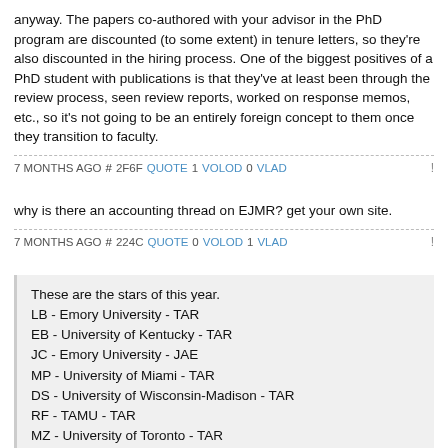anyway. The papers co-authored with your advisor in the PhD program are discounted (to some extent) in tenure letters, so they're also discounted in the hiring process. One of the biggest positives of a PhD student with publications is that they've at least been through the review process, seen review reports, worked on response memos, etc., so it's not going to be an entirely foreign concept to them once they transition to faculty.
7 MONTHS AGO # 2F6F QUOTE 1 VOLOD 0 VLAD
why is there an accounting thread on EJMR? get your own site.
7 MONTHS AGO # 224C QUOTE 0 VOLOD 1 VLAD
These are the stars of this year.
LB - Emory University - TAR
EB - University of Kentucky - TAR
JC - Emory University - JAE
MP - University of Miami - TAR
DS - University of Wisconsin-Madison - TAR
RF - TAMU - TAR
MZ - University of Toronto - TAR
Who have ever published a solo authored paper to and A journal while still a PhD student? Of course you need coauthors. The important thing is you are not just an RA. If you had the idea and worked on the paper